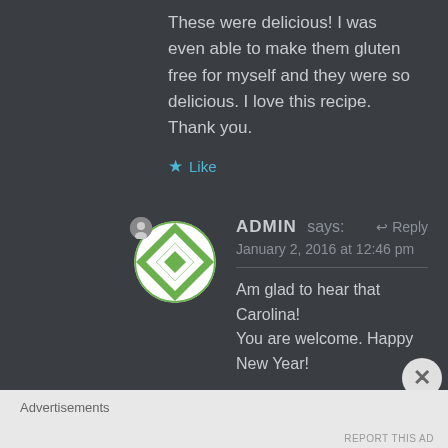These were delicious! I was even able to make them gluten free for myself and they were so delicious. I love this recipe. Thank you.
★ Like
[Figure (illustration): Admin avatar: circular logo with green and white geometric diamond/quilt pattern, with a small person icon badge in top-left]
ADMIN says:  ↩ Reply
January 2, 2016 at 12:46 pm
Am glad to hear that Carolina! You are welcome. Happy New Year!
★ Like
Advertisements
REPORT THIS AD